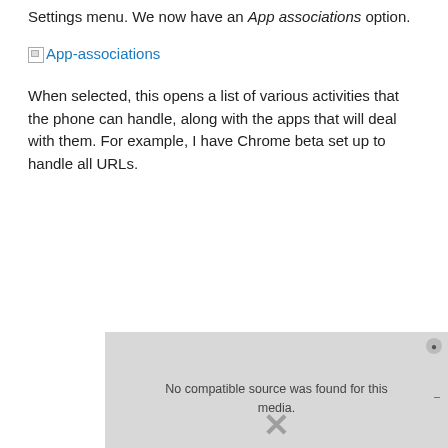Settings menu. We now have an App associations option.
[Figure (other): Broken image placeholder link labeled 'App-associations' in blue hyperlink style]
When selected, this opens a list of various activities that the phone can handle, along with the apps that will deal with them. For example, I have Chrome beta set up to handle all URLs.
[Figure (other): Video player showing 'No compatible source was found for this media.' with a close button and X mark overlay on a grey background]